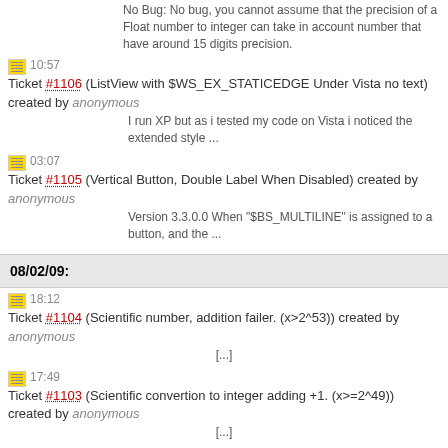No Bug: No bug, you cannot assume that the precision of a Float number to integer can take in account number that have around 15 digits precision.
10:57 Ticket #1106 (ListView with $WS_EX_STATICEDGE Under Vista no text) created by anonymous
I run XP but as i tested my code on Vista i noticed the extended style ...
03:07 Ticket #1105 (Vertical Button, Double Label When Disabled) created by anonymous
Version 3.3.0.0 When "$BS_MULTILINE" is assigned to a button, and the ...
08/02/09:
18:12 Ticket #1104 (Scientific number, addition failer. (x>2^53)) created by anonymous
[...]
17:49 Ticket #1103 (Scientific convertion to integer adding +1. (x>=2^49)) created by anonymous
[...]
13:32 Ticket #1079 (GUICtrlSetFont Docs incomplete and / or incorrect.) closed by Jpm
Fixed: Fixed in version: 3.3.1.2
13:28 Ticket #1079 (GUICtrlSetFont Docs incomplete and / or incorrect.) reopened by Jpm